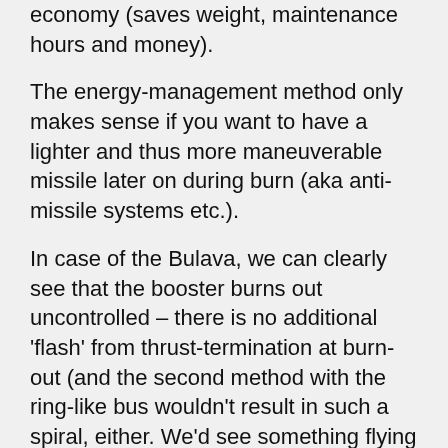economy (saves weight, maintenance hours and money).
The energy-management method only makes sense if you want to have a lighter and thus more maneuverable missile later on during burn (aka anti-missile systems etc.).
In case of the Bulava, we can clearly see that the booster burns out uncontrolled – there is no additional 'flash' from thrust-termination at burn-out (and the second method with the ring-like bus wouldn't result in such a spiral, either. We'd see something flying constantly in a straight line, and making a visible leap at bus-release before burning out).
Thus i'd definitely exclude the possibiltiy of the 'norwegian spiral' being anything but a